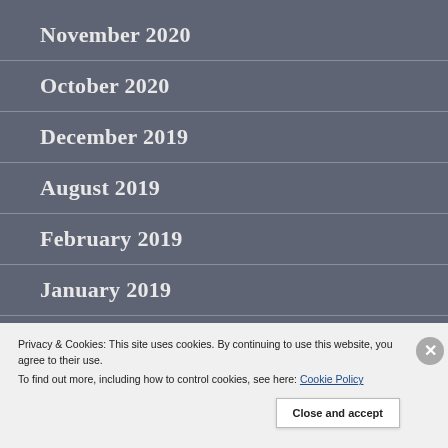November 2020
October 2020
December 2019
August 2019
February 2019
January 2019
Privacy & Cookies: This site uses cookies. By continuing to use this website, you agree to their use.
To find out more, including how to control cookies, see here: Cookie Policy
Close and accept